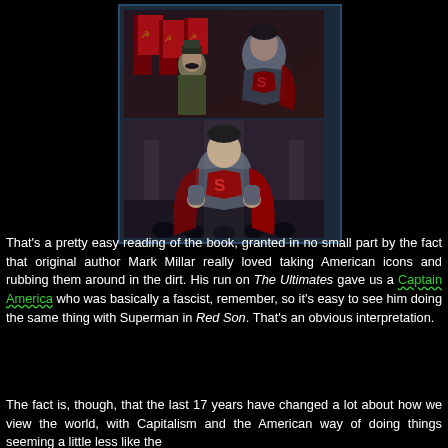[Figure (illustration): Two stacked animation stills from Superman: Red Son. Top image shows a mustachioed Soviet general in military uniform standing next to Superman (in a Soviet-themed costume with red S symbol) against a backdrop of Soviet/Communist red flags with hammer and sickle symbols. Bottom image shows Superman in his Soviet costume standing in a powerful pose with crowds below.]
That's a pretty easy reading of the book, granted in no small part by the fact that original author Mark Millar really loved taking American icons and rubbing them around in the dirt. His run on The Ultimates gave us a Captain America who was basically a fascist, remember, so it's easy to see him doing the same thing with Superman in Red Son. That's an obvious interpretation.
The fact is, though, that the last 17 years have changed a lot about how we view the world, with Capitalism and the American way of doing things seeming a little less like the...